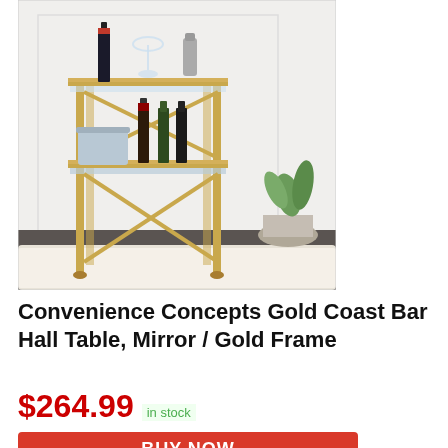[Figure (photo): A gold metal bar hall table with two glass/mirror shelves, styled with wine bottles, glasses, a cocktail shaker, and an ice bucket. A white fluffy rug and potted plant are visible in the background.]
Convenience Concepts Gold Coast Bar Hall Table, Mirror / Gold Frame
$264.99 in stock
BUY NOW